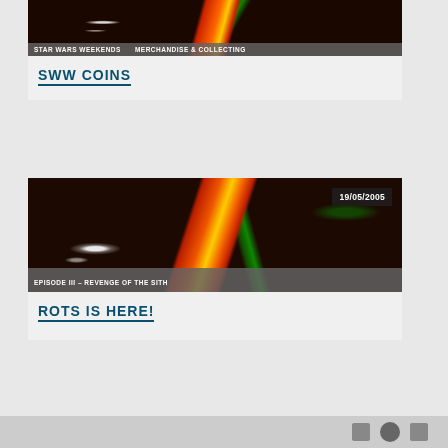[Figure (photo): Star Wars battle scene with lightsaber beams - red/orange/yellow diagonal across dark background with white light burst on left]
STAR WARS WEEKENDS   MERCHANDISE & COLLECTING
SWW COINS
[Figure (photo): Star Wars Episode III scene with lightsaber combat, date overlay 19/05/2005, red and green beams crossing dark urban background]
EPISODE III - REVENGE OF THE SITH
ROTS IS HERE!